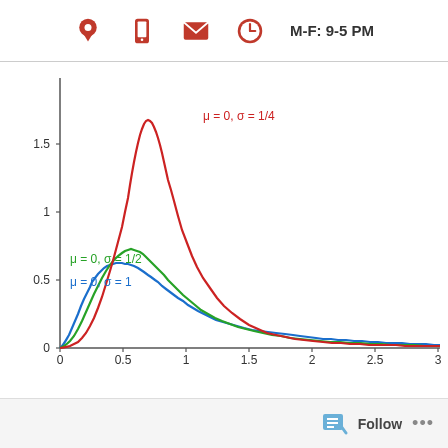M-F: 9-5 PM
[Figure (continuous-plot): Log-normal probability density function curves for three parameter sets: red curve (μ=0, σ=1/4) with tall narrow peak near x=0.9; green curve (μ=0, σ=1/2) with medium peak near x=0.6; blue curve (μ=0, σ=1) with broad low peak near x=0.4. X-axis 0 to 3, Y-axis 0 to ~1.75.]
Follow